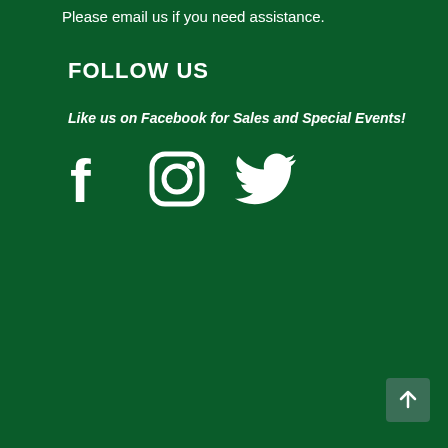Please email us if you need assistance.
FOLLOW US
Like us on Facebook for Sales and Special Events!
[Figure (logo): Social media icons: Facebook, Instagram, Twitter (white on dark green background)]
[Figure (other): Back to top button with upward arrow, dark green background]